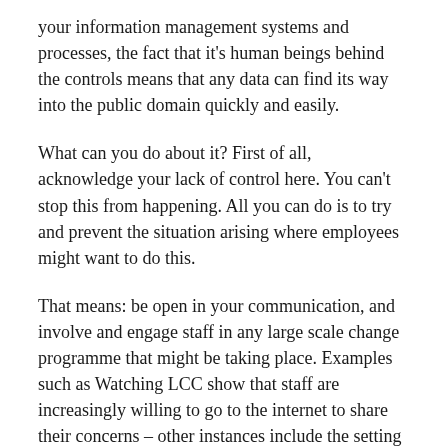your information management systems and processes, the fact that it's human beings behind the controls means that any data can find its way into the public domain quickly and easily.
What can you do about it? First of all, acknowledge your lack of control here. You can't stop this from happening. All you can do is to try and prevent the situation arising where employees might want to do this.
That means: be open in your communication, and involve and engage staff in any large scale change programme that might be taking place. Examples such as Watching LCC show that staff are increasingly willing to go to the internet to share their concerns – other instances include the setting up of Facebook groups to support staff in similar circumstances.